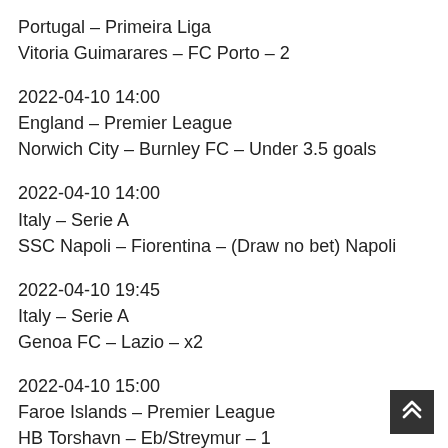Portugal – Primeira Liga
Vitoria Guimarares – FC Porto – 2
2022-04-10 14:00
England – Premier League
Norwich City – Burnley FC – Under 3.5 goals
2022-04-10 14:00
Italy – Serie A
SSC Napoli – Fiorentina – (Draw no bet) Napoli
2022-04-10 19:45
Italy – Serie A
Genoa FC – Lazio – x2
2022-04-10 15:00
Faroe Islands – Premier League
HB Torshavn – Eb/Streymur – 1
2022-04-10 13:00
Lithuania – A Liga